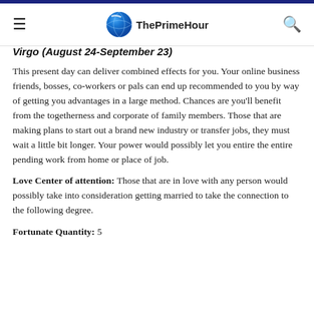ThePrimeHour
Virgo (August 24-September 23)
This present day can deliver combined effects for you. Your online business friends, bosses, co-workers or pals can end up recommended to you by way of getting you advantages in a large method. Chances are you'll benefit from the togetherness and corporate of family members. Those that are making plans to start out a brand new industry or transfer jobs, they must wait a little bit longer. Your power would possibly let you entire the entire pending work from home or place of job.
Love Center of attention: Those that are in love with any person would possibly take into consideration getting married to take the connection to the following degree.
Fortunate Quantity: 5